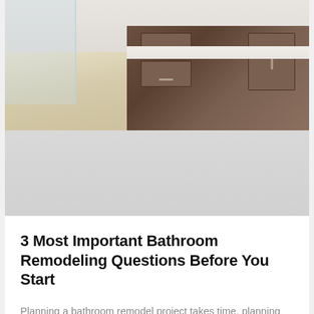[Figure (photo): Photograph of a modern bathroom interior showing a glass-enclosed bathtub on the left, light wood-look flooring, and dark walnut/espresso bathroom vanity cabinets with a white countertop and sink on the right. The image is partially obscured by a gray gradient overlay in the lower portion.]
3 Most Important Bathroom Remodeling Questions Before You Start
Planning a bathroom remodel project takes time, planning and research, especially if this is your first time taking on a home renovation. From small to large